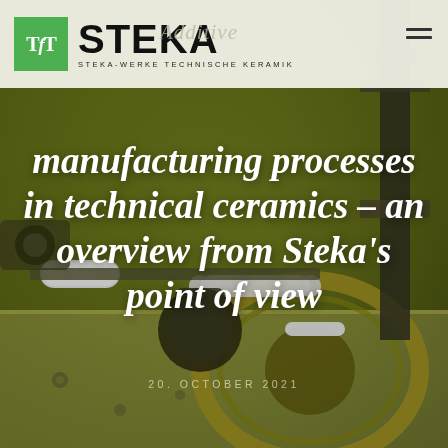[Figure (photo): Background photo of precision ceramic manufacturing equipment — a rotary/grinding machine with white ceramic cylindrical components and a metal fixture ring, shot with a yellow-green tinted overlay]
TfT STEKA — STEKA-WERKE TECHNISCHE KERAMIK — Additive
manufacturing processes in technical ceramics – an overview from Steka's point of view
20. OCTOBER 2021